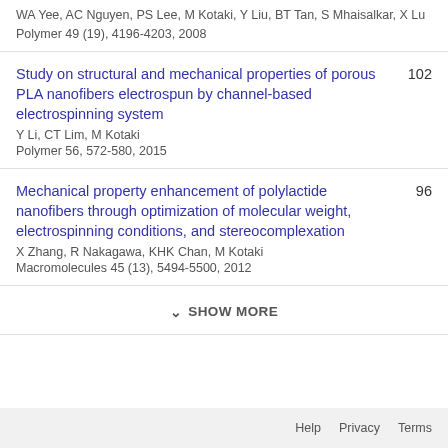WA Yee, AC Nguyen, PS Lee, M Kotaki, Y Liu, BT Tan, S Mhaisalkar, X Lu
Polymer 49 (19), 4196-4203, 2008
Study on structural and mechanical properties of porous PLA nanofibers electrospun by channel-based electrospinning system
Y Li, CT Lim, M Kotaki
Polymer 56, 572-580, 2015
102
Mechanical property enhancement of polylactide nanofibers through optimization of molecular weight, electrospinning conditions, and stereocomplexation
X Zhang, R Nakagawa, KHK Chan, M Kotaki
Macromolecules 45 (13), 5494-5500, 2012
96
SHOW MORE
Help  Privacy  Terms